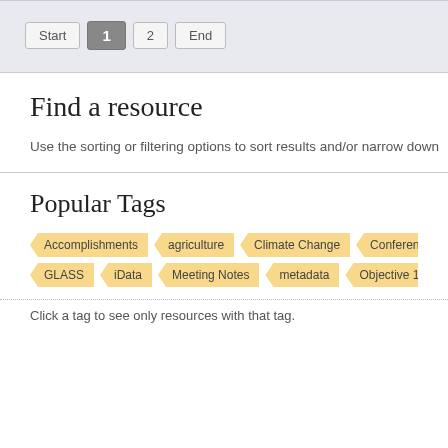Pagination: Start, 1, 2, End
Find a resource
Use the sorting or filtering options to sort results and/or narrow down
Popular Tags
Tags: Accomplishments, agriculture, Climate Change, Conference Ca..., GLASS, iData, Meeting Notes, metadata, Objective 1, ...
Click a tag to see only resources with that tag.